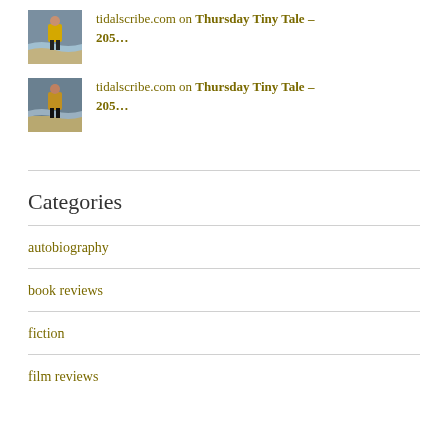tidalscribe.com on Thursday Tiny Tale – 205…
tidalscribe.com on Thursday Tiny Tale – 205…
Categories
autobiography
book reviews
fiction
film reviews